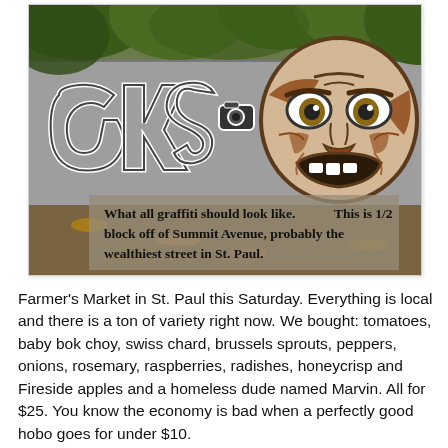[Figure (photo): Photograph of a retaining wall covered with graffiti art — stylized bubble-letter graffiti on the left and a large expressive face with wide eyes and an open mouth on the right. Trees and fallen leaves are visible. An overlaid caption reads: 'What all graffiti should look like. This is 1/2 block off of Summit Avenue, probably the wealthiest street in St. Paul.']
Farmer's Market in St. Paul this Saturday. Everything is local and there is a ton of variety right now. We bought: tomatoes, baby bok choy, swiss chard, brussels sprouts, peppers, onions, rosemary, raspberries, radishes, honeycrisp and Fireside apples and a homeless dude named Marvin. All for $25. You know the economy is bad when a perfectly good hobo goes for under $10.